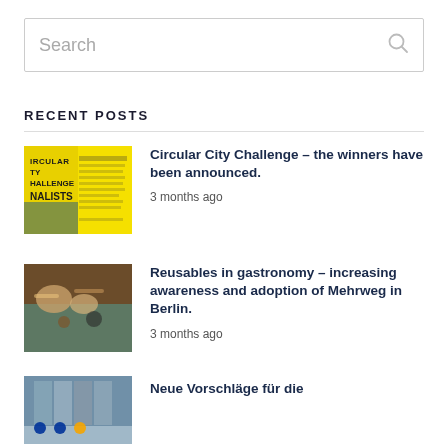Search
RECENT POSTS
[Figure (other): Yellow poster for Circular City Challenge Finalists]
Circular City Challenge – the winners have been announced.
3 months ago
[Figure (photo): People eating food at a table with reusable containers]
Reusables in gastronomy – increasing awareness and adoption of Mehrweg in Berlin.
3 months ago
[Figure (photo): Building exterior with European flags]
Neue Vorschläge für die